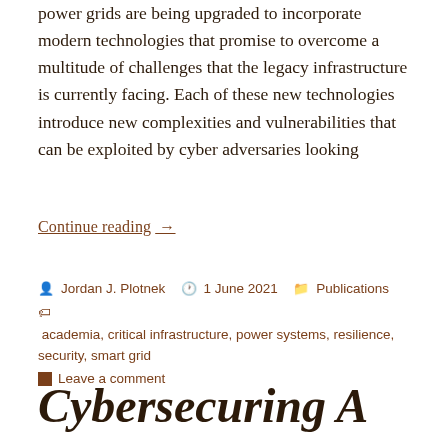power grids are being upgraded to incorporate modern technologies that promise to overcome a multitude of challenges that the legacy infrastructure is currently facing. Each of these new technologies introduce new complexities and vulnerabilities that can be exploited by cyber adversaries looking
Continue reading →
Jordan J. Plotnek  1 June 2021  Publications  academia, critical infrastructure, power systems, resilience, security, smart grid  Leave a comment
Cybersecuring A...